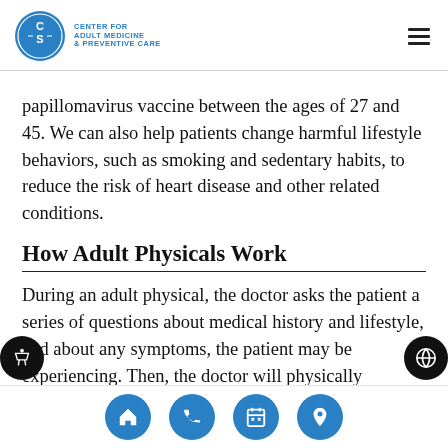Center for Adult Medicine & Preventive Care
papillomavirus vaccine between the ages of 27 and 45. We can also help patients change harmful lifestyle behaviors, such as smoking and sedentary habits, to reduce the risk of heart disease and other related conditions.
How Adult Physicals Work
During an adult physical, the doctor asks the patient a series of questions about medical history and lifestyle, and about any symptoms, the patient may be experiencing. Then, the doctor will physically examine the patient's